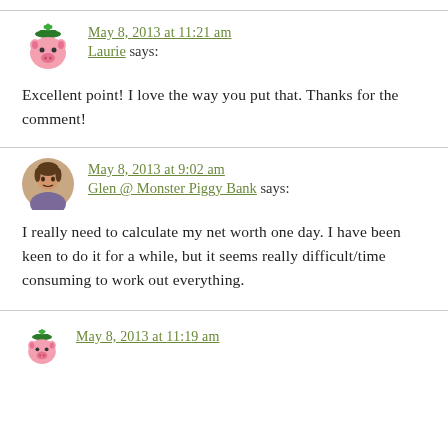May 8, 2013 at 11:21 am
Laurie says:
Excellent point! I love the way you put that. Thanks for the comment!
May 8, 2013 at 9:02 am
Glen @ Monster Piggy Bank says:
I really need to calculate my net worth one day. I have been keen to do it for a while, but it seems really difficult/time consuming to work out everything.
May 8, 2013 at 11:19 am